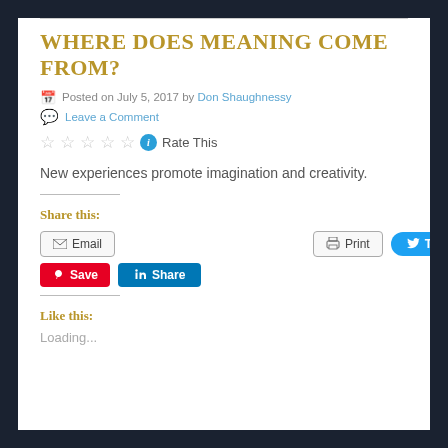WHERE DOES MEANING COME FROM?
Posted on July 5, 2017 by Don Shaughnessy
Leave a Comment
[Figure (other): Five empty star rating icons followed by an info icon and 'Rate This' text]
New experiences promote imagination and creativity.
Share this:
[Figure (other): Share buttons: Email, Print, Tweet, Save (Pinterest), Share (LinkedIn)]
Like this:
Loading...